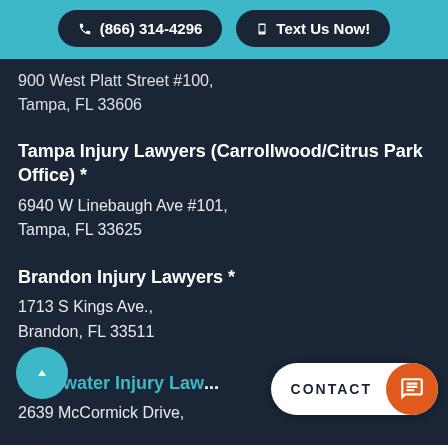(866) 314-4296   Text Us Now!
900 West Platt Street #100,
Tampa, FL 33606
Tampa Injury Lawyers (Carrollwood/Citrus Park Office) *
6940 W Linebaugh Ave #101,
Tampa, FL 33625
Brandon Injury Lawyers *
1713 S Kings Ave.,
Brandon, FL 33511
Clearwater Injury Law...
2639 McCormick Drive,
Clearwater, FL ...